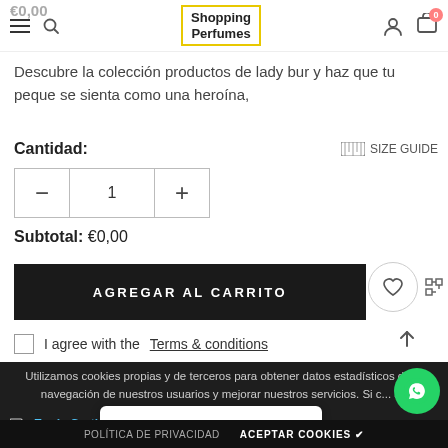€0,00 | Shopping Perfumes | 0
Descubre la colección productos de lady bur y haz que tu peque se sienta como una heroína,
Cantidad:
SIZE GUIDE
1
Subtotal: €0,00
AGREGAR AL CARRITO
I agree with the Terms & conditions
Utilizamos cookies propias y de terceros para obtener datos estadísticos de la navegación de nuestros usuarios y mejorar nuestros servicios. Si c... an consideramo...
Envío Gratis
Devoluciones
¿Necesitas ayuda? habla con nosotros
POLÍTICA DE PRIVACIDAD  ACEPTAR COOKIES ✔